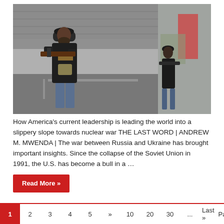[Figure (photo): Two armed men walking under an overpass/bridge on a road. The man in the foreground wears a black jacket and cap and carries a rifle with a yellow strap. A second man in the background wears a black jacket and jeans and carries weapons. Urban conflict zone setting.]
How America's current leadership is leading the world into a slippery slope towards nuclear war THE LAST WORD | ANDREW M. MWENDA | The war between Russia and Ukraine has brought important insights. Since the collapse of the Soviet Union in 1991, the U.S. has become a bull in a …
Read More »
1  2  3  4  5  »  10  20  30  ...  Last »  Page of 74